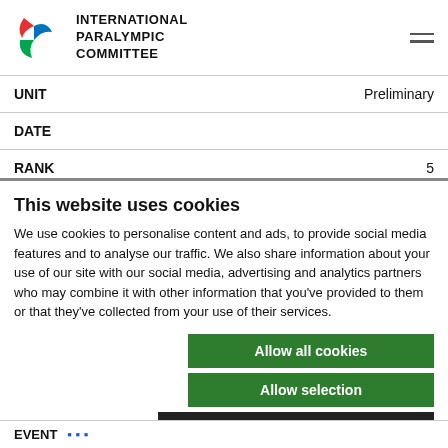INTERNATIONAL PARALYMPIC COMMITTEE
| UNIT | Preliminary |
| --- | --- |
| DATE |  |
| RANK | 5 |
This website uses cookies
We use cookies to personalise content and ads, to provide social media features and to analyse our traffic. We also share information about your use of our site with our social media, advertising and analytics partners who may combine it with other information that you've provided to them or that they've collected from your use of their services.
Allow all cookies
Allow selection
Use necessary cookies only
Necessary  Preferences  Statistics  Marketing  Show details
EVENT